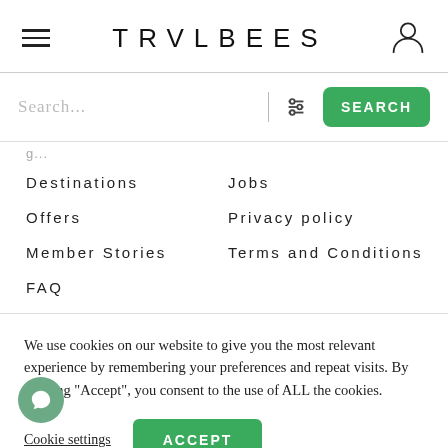TRVLBEES
[Figure (screenshot): Search bar with filter icon and green SEARCH button]
Destinations
Jobs
Offers
Privacy policy
Member Stories
Terms and Conditions
FAQ
We use cookies on our website to give you the most relevant experience by remembering your preferences and repeat visits. By clicking “Accept”, you consent to the use of ALL the cookies.
Cookie settings
ACCEPT